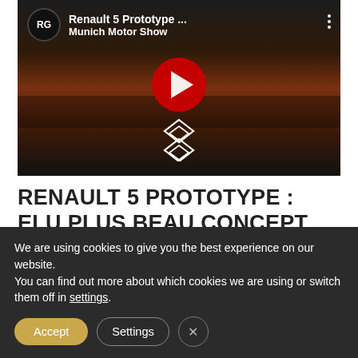[Figure (screenshot): YouTube video thumbnail showing Renault 5 Prototype at Munich Motor Show. Has RG channel icon, video title 'Renault 5 Prototype ... Munich Motor Show', red play button, and Renault diamond logo at bottom.]
RENAULT 5 PROTOTYPE : ELU PLUS BEAU CONCEPT CAR DE L'ANNÉE 2022 !
We are using cookies to give you the best experience on our website.
You can find out more about which cookies we are using or switch them off in settings.